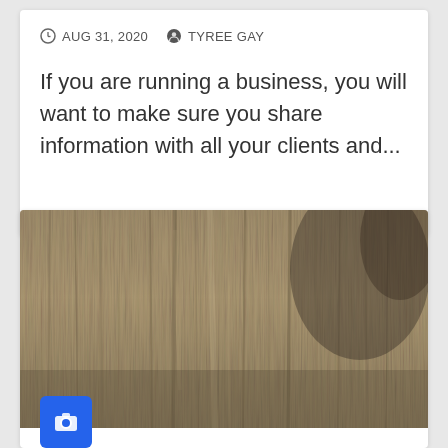AUG 31, 2020  TYREE GAY
If you are running a business, you will want to make sure you share information with all your clients and...
[Figure (photo): Close-up photograph of a weathered wooden surface with vertical wood grain texture in brown and grey tones. A blue camera icon badge appears in the bottom-left corner.]